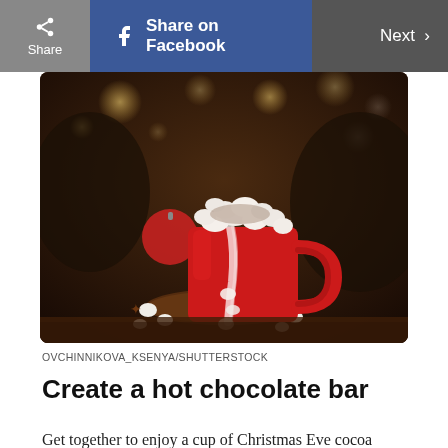Share | Share on Facebook | Next >
[Figure (photo): A red mug overflowing with hot chocolate and mini marshmallows with cocoa powder dusting, placed on a wooden coaster with scattered marshmallows, star anise, and a red Christmas ornament in the background, with warm bokeh lights.]
OVCHINNIKOVA_KSENYA/SHUTTERSTOCK
Create a hot chocolate bar
Get together to enjoy a cup of Christmas Eve cocoa before bedtime. To take the ritual to the